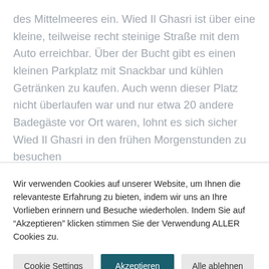des Mittelmeeres ein. Wied Il Ghasri ist über eine kleine, teilweise recht steinige Straße mit dem Auto erreichbar. Über der Bucht gibt es einen kleinen Parkplatz mit Snackbar und kühlen Getränken zu kaufen. Auch wenn dieser Platz nicht überlaufen war und nur etwa 20 andere Badegäste vor Ort waren, lohnt es sich sicher Wied Il Ghasri in den frühen Morgenstunden zu besuchen
Wir verwenden Cookies auf unserer Website, um Ihnen die relevanteste Erfahrung zu bieten, indem wir uns an Ihre Vorlieben erinnern und Besuche wiederholen. Indem Sie auf "Akzeptieren" klicken stimmen Sie der Verwendung ALLER Cookies zu.
Cookie Settings
Akzeptieren
Alle ablehnen